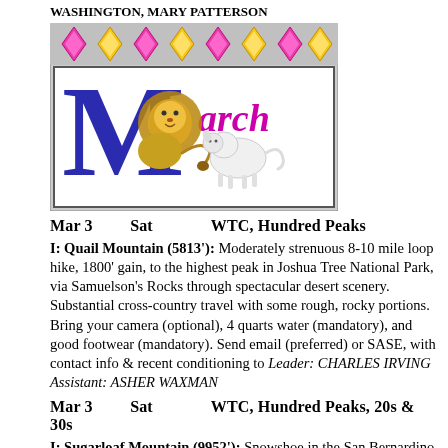WASHINGTON, MARY PATTERSON
[Figure (illustration): Decorative 'March' header illustration featuring a large blue letter M with a lion and lamb, surrounded by diamond kite shapes on a gray/pink border]
Mar 3    Sat    WTC, Hundred Peaks
I: Quail Mountain (5813'): Moderately strenuous 8-10 mile loop hike, 1800' gain, to the highest peak in Joshua Tree National Park, via Samuelson's Rocks through spectacular desert scenery. Substantial cross-country travel with some rough, rocky portions. Bring your camera (optional), 4 quarts water (mandatory), and good footwear (mandatory). Send email (preferred) or SASE, with contact info & recent conditioning to Leader: CHARLES IRVING Assistant: ASHER WAXMAN
Mar 3    Sat    WTC, Hundred Peaks, 20s & 30s
I: Sugarloaf Mountain (9952'): Snowshoe in the San Bernardino Mountains. Destination may change with snow conditions. Strenuous 10-12 miles round trip, 2700' gain.